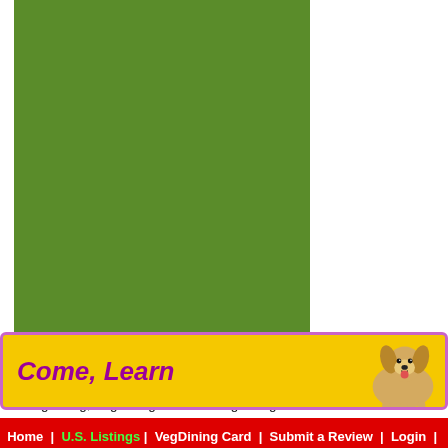[Figure (other): Green rectangle / placeholder box]
| VGN = Fully Vegan (No Animal Prod… |
| MVGN = Mostly Vegan but Fully Vege… |
| V = Fully Vegetarian |
Copyright © 1999 - 2022 by VegDining.com. All rights reserved.
VegDining, VegDining.com and VegDining Card are Trademarks of VegDining.com
[Figure (illustration): Yellow banner with purple border reading 'Come, Learn' with a dog illustration]
Home | U.S. Listings | VegDining Card | Submit a Review | Login | Contact Us